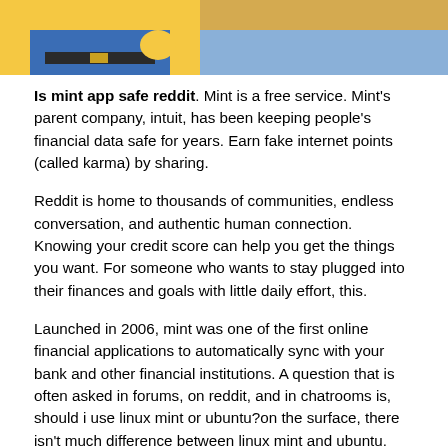[Figure (illustration): Cropped cartoon illustration showing animated characters, appears to be from The Simpsons, with yellow characters visible against blue and brown background]
Is mint app safe reddit. Mint is a free service. Mint's parent company, intuit, has been keeping people's financial data safe for years. Earn fake internet points (called karma) by sharing.
Reddit is home to thousands of communities, endless conversation, and authentic human connection. Knowing your credit score can help you get the things you want. For someone who wants to stay plugged into their finances and goals with little daily effort, this.
Launched in 2006, mint was one of the first online financial applications to automatically sync with your bank and other financial institutions. A question that is often asked in forums, on reddit, and in chatrooms is, should i use linux mint or ubuntu?on the surface, there isn't much difference between linux mint and ubuntu. Help reddit app reddit coins reddit premium reddit gifts.
Keep your passwords safe—don't share them with anyone. If you want to use mint, you must sync all of your financial. "mint is great as a free dashboard.